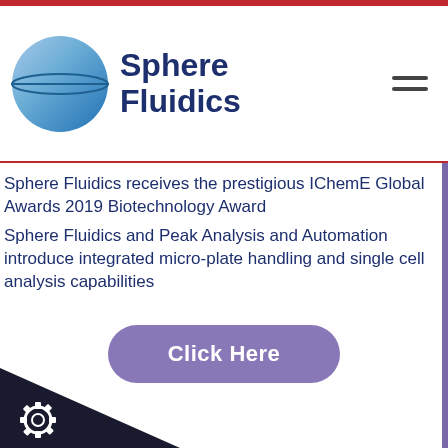[Figure (logo): Sphere Fluidics logo with blue sphere and company name text]
Sphere Fluidics receives the prestigious IChemE Global Awards 2019 Biotechnology Award
Sphere Fluidics and Peak Analysis and Automation introduce integrated micro-plate handling and single cell analysis capabilities
Click Here